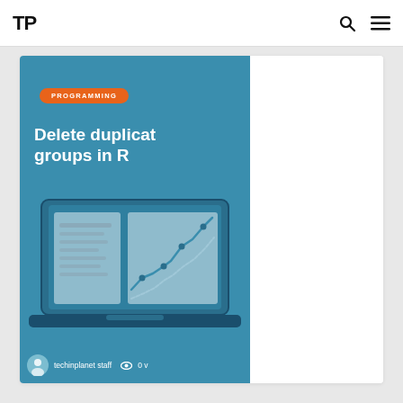TP
[Figure (screenshot): Website card showing article preview with blue banner, 'PROGRAMMING' orange badge, title 'Delete duplicat... groups in R', illustration of laptop with charts, author 'techinplanet staff', views '0 v']
Delete duplicat... groups in R
techinplanet staff  0 v